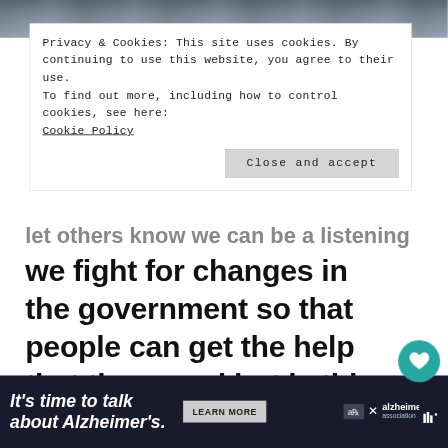[Figure (photo): Partial photo strip at top of page, showing a crowd scene, partially obscured by cookie banner overlay]
Privacy & Cookies: This site uses cookies. By continuing to use this website, you agree to their use.
To find out more, including how to control cookies, see here:
Cookie Policy
Close and accept
let others know we can be a listening ear,
we fight for changes in the government so that people can get the help that they need but is this enough?
The truth is, as a military spouse, this is something we need to be aware o
risk of suicide is 22% higher for veterans
WHAT'S NEXT → Preventing Suicide:....
It's time to talk about Alzheimer's.
LEARN MORE